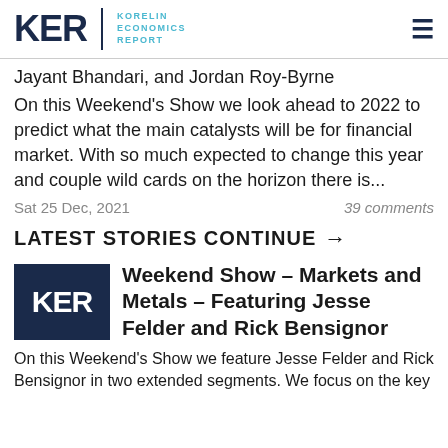KER | KORELIN ECONOMICS REPORT
Jayant Bhandari, and Jordan Roy-Byrne
On this Weekend's Show we look ahead to 2022 to predict what the main catalysts will be for financial market. With so much expected to change this year and couple wild cards on the horizon there is...
Sat 25 Dec, 2021    39 comments
LATEST STORIES CONTINUE →
[Figure (logo): KER logo — dark navy square with white KER text]
Weekend Show – Markets and Metals – Featuring Jesse Felder and Rick Bensignor
On this Weekend's Show we feature Jesse Felder and Rick Bensignor in two extended segments. We focus on the key